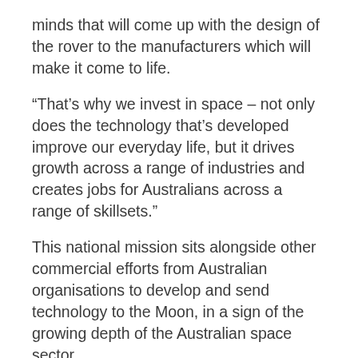minds that will come up with the design of the rover to the manufacturers which will make it come to life.
“That’s why we invest in space – not only does the technology that’s developed improve our everyday life, but it drives growth across a range of industries and creates jobs for Australians across a range of skillsets.”
This national mission sits alongside other commercial efforts from Australian organisations to develop and send technology to the Moon, in a sign of the growing depth of the Australian space sector.
This mission will build on that momentum in the sector, Australian Space Agency head, Enrico Palermo said.
“This is an incredible opportunity for Australian